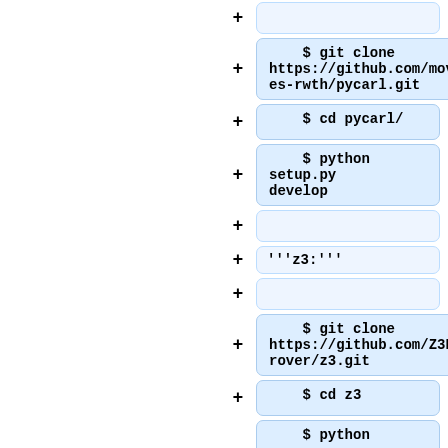+ [empty box]
+ $ git clone https://github.com/moves-rwth/pycarl.git
+ $ cd pycarl/
+ $ python setup.py develop
+ [empty box]
+ '''z3:'''
+ [empty box]
+ $ git clone https://github.com/Z3Prover/z3.git
+ $ cd z3
+ $ python